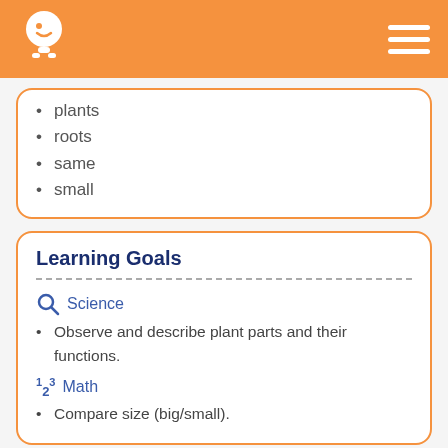plants
roots
same
small
Learning Goals
Observe and describe plant parts and their functions.
Compare size (big/small).